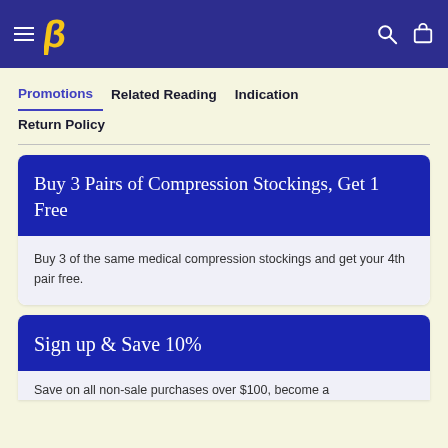Navigation bar with hamburger menu, logo, search and cart icons
Promotions | Related Reading | Indication | Return Policy
Buy 3 Pairs of Compression Stockings, Get 1 Free
Buy 3 of the same medical compression stockings and get your 4th pair free.
Sign up & Save 10%
Save on all non-sale purchases over $100, become a